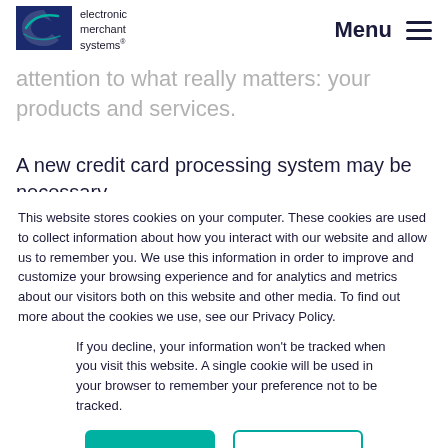[Figure (logo): Electronic Merchant Systems logo with dark navy shield/arrow shape and text 'electronic merchant systems']
Menu ≡
attention to what really matters: your products and services.
A new credit card processing system may be necessary if your Farmington Hills business already uses credit
This website stores cookies on your computer. These cookies are used to collect information about how you interact with our website and allow us to remember you. We use this information in order to improve and customize your browsing experience and for analytics and metrics about our visitors both on this website and other media. To find out more about the cookies we use, see our Privacy Policy.
If you decline, your information won't be tracked when you visit this website. A single cookie will be used in your browser to remember your preference not to be tracked.
Accept
Decline